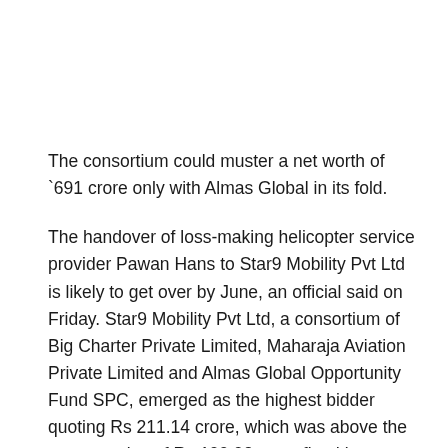The consortium could muster a net worth of `691 crore only with Almas Global in its fold.
The handover of loss-making helicopter service provider Pawan Hans to Star9 Mobility Pvt Ltd is likely to get over by June, an official said on Friday. Star9 Mobility Pvt Ltd, a consortium of Big Charter Private Limited, Maharaja Aviation Private Limited and Almas Global Opportunity Fund SPC, emerged as the highest bidder quoting Rs 211.14 crore, which was above the reserve price of Rs 199.92 crore fixed by